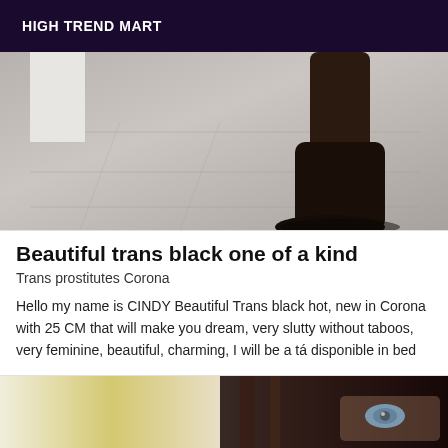HIGH TREND MART
[Figure (photo): Photo showing feet/boots on a wood floor, partial lower body view]
Beautiful trans black one of a kind
Trans prostitutes Corona
Hello my name is CINDY Beautiful Trans black hot, new in Corona with 25 CM that will make you dream, very slutty without taboos, very feminine, beautiful, charming, I will be a tá disponible in bed
[Figure (photo): Photo of a woman with dark hair and blue/green eyes, partially visible face]